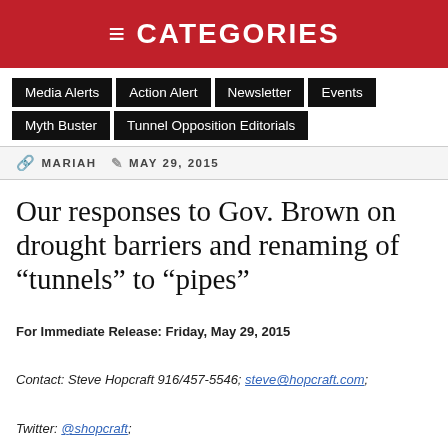≡ CATEGORIES
Media Alerts
Action Alert
Newsletter
Events
Myth Buster
Tunnel Opposition Editorials
MARIAH   MAY 29, 2015
Our responses to Gov. Brown on drought barriers and renaming of “tunnels” to “pipes”
For Immediate Release: Friday, May 29, 2015
Contact: Steve Hopcraft 916/457-5546; steve@hopcraft.com;
Twitter: @shopcraft;
Barbara Barrigan-Parrilla 209/479-2053